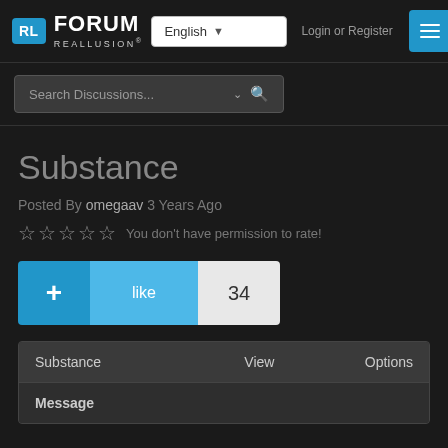RL FORUM REALLUSION — English — Login or Register
Search Discussions...
Substance
Posted By omegaav 3 Years Ago
☆☆☆☆☆ You don't have permission to rate!
+ like 34
| Substance | View | Options |
| --- | --- | --- |
| Message |  |  |
Message